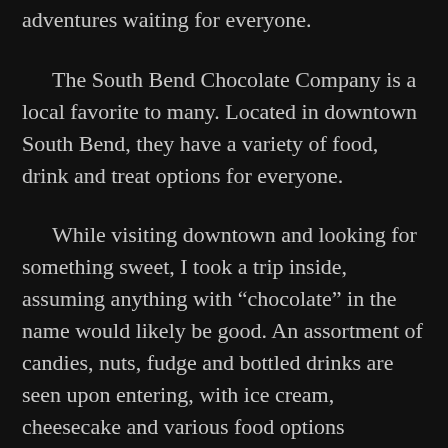adventures waiting for everyone.
The South Bend Chocolate Company is a local favorite to many. Located in downtown South Bend, they have a variety of food, drink and treat options for everyone.
While visiting downtown and looking for something sweet, I took a trip inside, assuming anything with “chocolate” in the name would likely be good. An assortment of candies, nuts, fudge and bottled drinks are seen upon entering, with ice cream, cheesecake and various food options throughout.